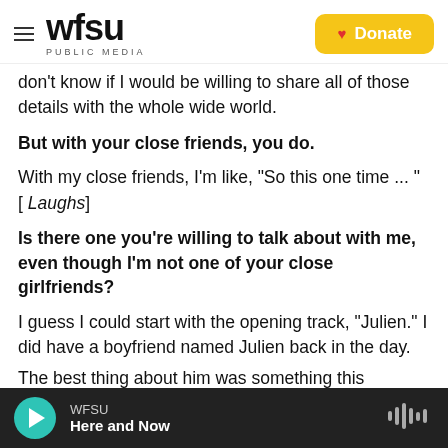WFSU PUBLIC MEDIA | Donate
don't know if I would be willing to share all of those details with the whole wide world.
But with your close friends, you do.
With my close friends, I'm like, "So this one time ... " [ Laughs]
Is there one you're willing to talk about with me, even though I'm not one of your close girlfriends?
I guess I could start with the opening track, "Julien." I did have a boyfriend named Julien back in the day.
WFSU Here and Now